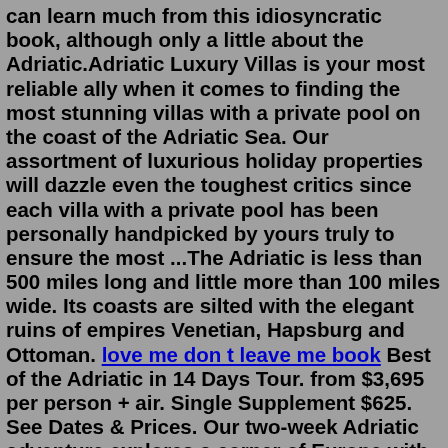can learn much from this idiosyncratic book, although only a little about the Adriatic.Adriatic Luxury Villas is your most reliable ally when it comes to finding the most stunning villas with a private pool on the coast of the Adriatic Sea. Our assortment of luxurious holiday properties will dazzle even the toughest critics since each villa with a private pool has been personally handpicked by yours truly to ensure the most ...The Adriatic is less than 500 miles long and little more than 100 miles wide. Its coasts are silted with the elegant ruins of empires Venetian, Hapsburg and Ottoman. love me don t leave me book Best of the Adriatic in 14 Days Tour. from $3,695 per person + air. Single Supplement $625. See Dates & Prices. Our two-week Adriatic adventure explores a corner of Europe with some of its grandest natural wonders — and some of its most captivating recent history. On this tour, you'll meander from pristine hill towns to sun-soaked islands ...info@adriatic-illyria.com 11200 W Burleigh Street , Wauwatosa MenuCruise Ancient Adriatic Treasures Discover Adriatic and Aegean